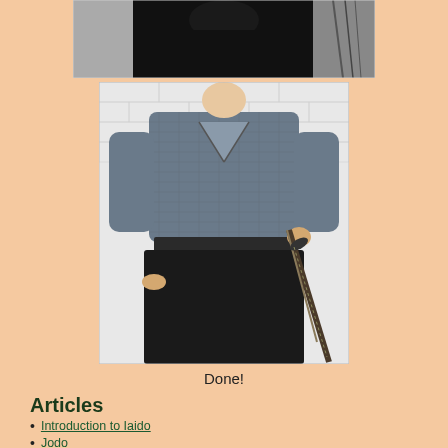[Figure (photo): Top portion of a person in black clothing, cropped, with decorative elements visible on the right]
[Figure (photo): Person wearing a grey/blue kimono jacket (gi) and black hakama pants, holding a katana sword at their waist, standing in front of a white brick wall]
Done!
Articles
Introduction to Iaido
Jodo
Miyamoto Musashi: life, art, writings, kenjutsu
Syon's trip to Kyushu